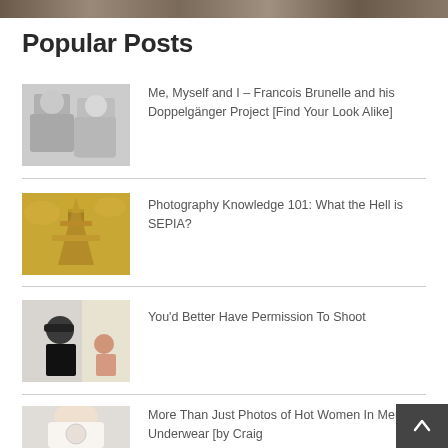[Figure (photo): Cropped top portion of a landscape/nature photograph]
Popular Posts
[Figure (photo): Black and white photo of two people posing similarly – doppelganger project]
Me, Myself and I – Francois Brunelle and his Doppelgänger Project [Find Your Look Alike]
[Figure (photo): Sepia-toned photo of the Eiffel Tower against dramatic clouds]
Photography Knowledge 101: What the Hell is SEPIA?
[Figure (photo): Photo of a person in a black cap looking at something, indoors]
You'd Better Have Permission To Shoot
[Figure (photo): Partial photo of a person in underwear]
More Than Just Photos of Hot Women In Men's Underwear [by Craig